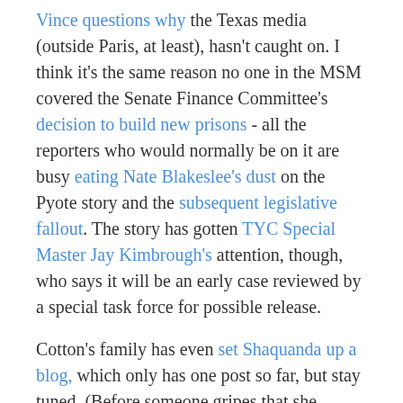Vince questions why the Texas media (outside Paris, at least), hasn't caught on. I think it's the same reason no one in the MSM covered the Senate Finance Committee's decision to build new prisons - all the reporters who would normally be on it are busy eating Nate Blakeslee's dust on the Pyote story and the subsequent legislative fallout. The story has gotten TYC Special Master Jay Kimbrough's attention, though, who says it will be an early case reviewed by a special task force for possible release.
Cotton's family has even set Shaquanda up a blog, which only has one post so far, but stay tuned. (Before someone gripes that she shouldn't be on the web, TYC kids, like adults in TDCJ, don't have internet access, so for every inmate blog you see, someone on the outside is helping them put up their posts, which are invariably sent back and forth, with much delay, relatively speaking, via